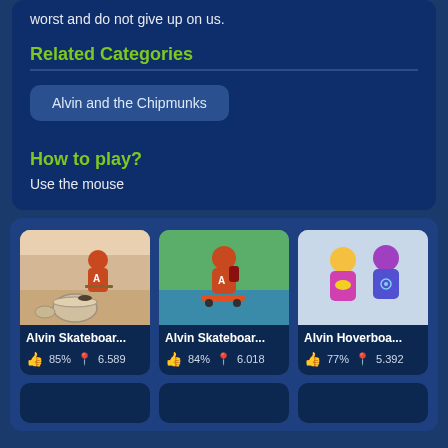worst and do not give up on us.
Related Categories
Alvin and the Chipmunks
How to play?
Use the mouse
[Figure (screenshot): Game card for Alvin Skateboar... with thumbnail showing chipmunk character with skateboard and drums, 85% like rating, 6,589 plays]
[Figure (screenshot): Game card for Alvin Skateboar... with thumbnail showing chipmunk skateboarding outdoors, 84% like rating, 6,018 plays]
[Figure (screenshot): Game card for Alvin Hoverboa... with thumbnail showing two chipmunk characters in superhero costumes, 77% like rating, 5,392 plays]